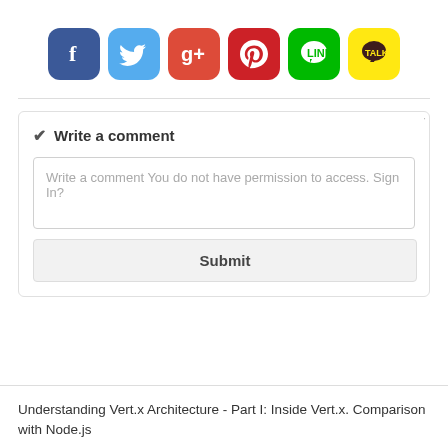[Figure (infographic): Row of six social media sharing icons: Facebook (blue), Twitter (light blue), Google+ (red), Pinterest (dark red), LINE (green), KakaoTalk (yellow)]
✔ Write a comment
Write a comment You do not have permission to access. Sign In?
Submit
Understanding Vert.x Architecture - Part I: Inside Vert.x. Comparison with Node.js